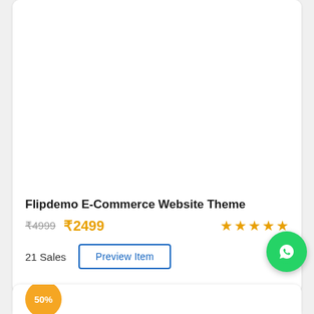[Figure (other): White blank product card image area]
Flipdemo E-Commerce Website Theme
₹4999  ₹2499  ★★★★★
21 Sales  Preview Item